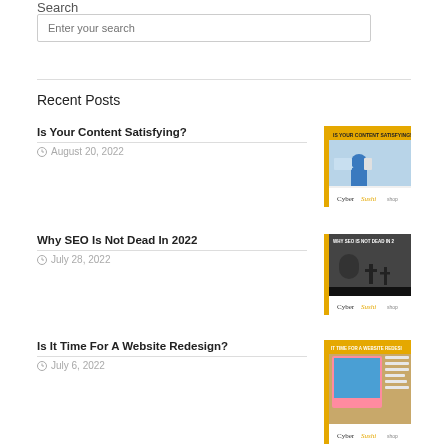Search
Enter your search
Recent Posts
Is Your Content Satisfying?
August 20, 2022
Why SEO Is Not Dead In 2022
July 28, 2022
Is It Time For A Website Redesign?
July 6, 2022